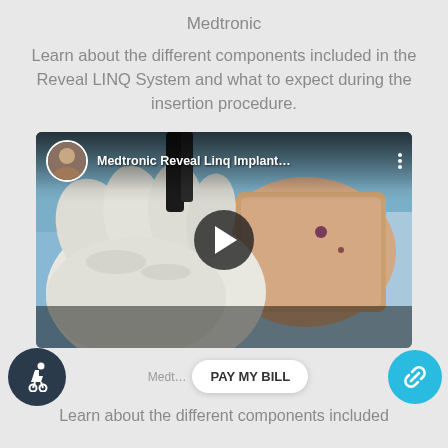Medtronic
Learn about the different components included in the Reveal LINQ System and what to expect during the insertion procedure.
[Figure (screenshot): YouTube-style video thumbnail showing a medical gloved hand performing a procedure on skin, with title 'Medtronic Reveal Linq Implant...' and a play button overlay.]
Learn about the different components included